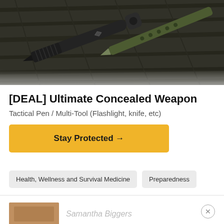[Figure (photo): Close-up photo of a tactical pen / multi-tool with dark metal finish and textured grip, lying on a dark wooden surface alongside a green/olive-colored multi-tool knife]
[DEAL] Ultimate Concealed Weapon
Tactical Pen / Multi-Tool (Flashlight, knife, etc)
Stay Protected →
Health, Wellness and Survival Medicine
Preparedness
Samantha Biggers